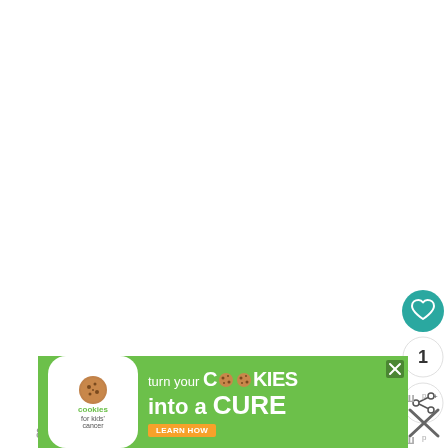[Figure (screenshot): White blank content area of a webpage]
[Figure (infographic): UI buttons: teal heart button, number 1 circle, share button, and w logo icons on right side]
1
[Figure (infographic): Cookies for Kids' Cancer advertisement banner: green background, white cookie logo, text 'turn your COOKIES into a CURE LEARN HOW']
8.